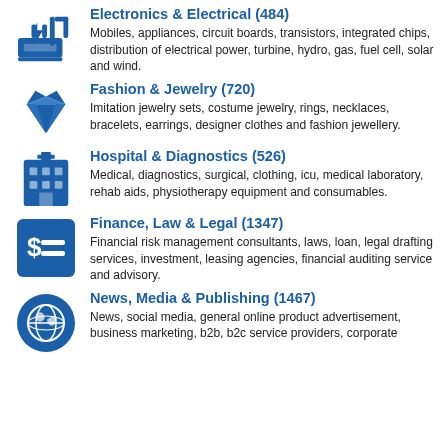Electronics & Electrical (484)
Mobiles, appliances, circuit boards, transistors, integrated chips, distribution of electrical power, turbine, hydro, gas, fuel cell, solar and wind.
Fashion & Jewelry (720)
Imitation jewelry sets, costume jewelry, rings, necklaces, bracelets, earrings, designer clothes and fashion jewellery.
Hospital & Diagnostics (526)
Medical, diagnostics, surgical, clothing, icu, medical laboratory, rehab aids, physiotherapy equipment and consumables.
Finance, Law & Legal (1347)
Financial risk management consultants, laws, loan, legal drafting services, investment, leasing agencies, financial auditing service and advisory.
News, Media & Publishing (1467)
News, social media, general online product advertisement, business marketing, b2b, b2c service providers, corporate